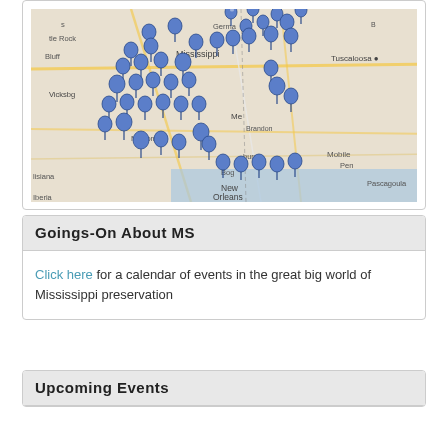[Figure (map): Google map of Mississippi and surrounding states showing numerous blue map pin markers clustered throughout the state of Mississippi, extending to the Gulf Coast near New Orleans and Mobile. Place names visible include Mississippi, Tuscaloosa, Vicksburg, McComb, Brandon, Meridian, New Orleans, Pascagoula, Mobile, Louisiana, Iberia, Bogue, Little Rock, Bluff, Germania.]
Goings-On About MS
Click here for a calendar of events in the great big world of Mississippi preservation
Upcoming Events